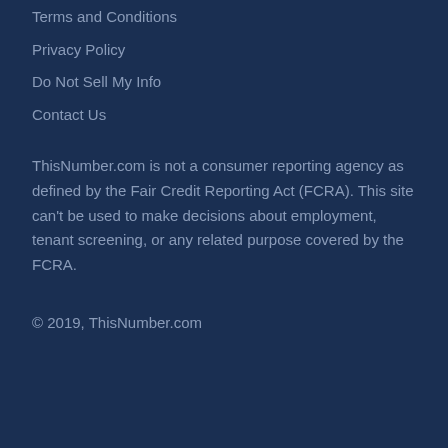Terms and Conditions
Privacy Policy
Do Not Sell My Info
Contact Us
ThisNumber.com is not a consumer reporting agency as defined by the Fair Credit Reporting Act (FCRA). This site can't be used to make decisions about employment, tenant screening, or any related purpose covered by the FCRA.
© 2019, ThisNumber.com